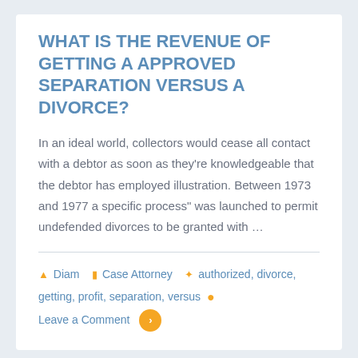WHAT IS THE REVENUE OF GETTING A APPROVED SEPARATION VERSUS A DIVORCE?
In an ideal world, collectors would cease all contact with a debtor as soon as they're knowledgeable that the debtor has employed illustration. Between 1973 and 1977 a specific process" was launched to permit undefended divorces to be granted with …
Diam  Case Attorney  authorized, divorce, getting, profit, separation, versus  Leave a Comment